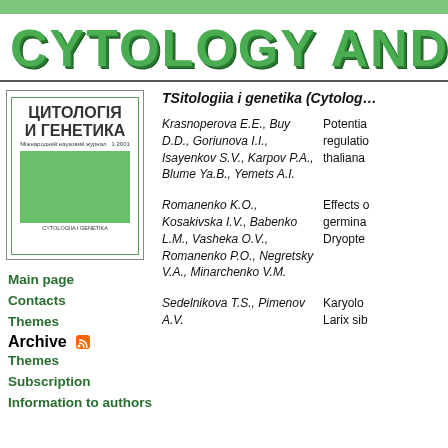CYTOLOGY AND
[Figure (illustration): Journal cover of Tsitologiia i Genetika (Cytology and Genetics) showing Cyrillic title ЦИТОЛОГІЯ И ГЕНЕТИКА with a green block and issue info 1·2001]
Main page
Contacts
Themes
Archive (RSS)
Themes
Subscription
Information to authors
TSitologiia i genetika (Cytolog…
Krasnoperova E.E., Buy D.D., Goriunova I.I., Isayenkov S.V., Karpov P.A., Blume Ya.B., Yemets A.I.
Potential regulation… thaliana…
Romanenko K.O., Kosakivska I.V., Babenko L.M., Vasheka O.V., Romanenko P.O., Negretsky V.A., Minarchenko V.M.
Effects of germination… Dryopte…
Sedelnikova T.S., Pimenov A.V.
Karyolo… Larix sib…